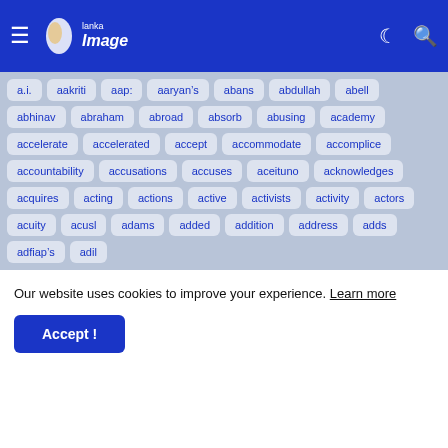Lanka Image — navigation header with hamburger menu, logo, dark mode icon, search icon
a.i.
aakriti
aap:
aaryan&#8217;s
abans
abdullah
abell
abhinav
abraham
abroad
absorb
abusing
academy
accelerate
accelerated
accept
accommodate
accomplice
accountability
accusations
accuses
aceituno
acknowledges
acquires
acting
actions
active
activists
activity
actors
acuity
acusl
adams
added
addition
address
adds
adfiap's
adil
Our website uses cookies to improve your experience. Learn more
Accept !